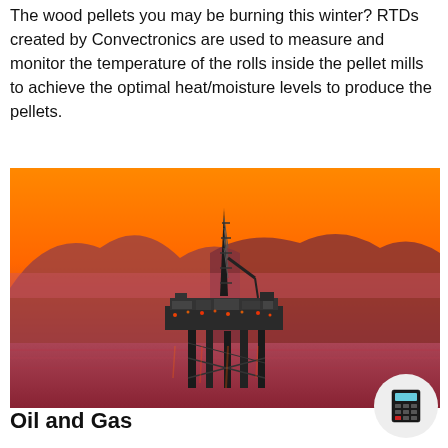The wood pellets you may be burning this winter? RTDs created by Convectronics are used to measure and monitor the temperature of the rolls inside the pellet mills to achieve the optimal heat/moisture levels to produce the pellets.
[Figure (photo): Offshore oil drilling platform at sunset with orange sky and mountains in background, illuminated platform structures visible over calm water]
Oil and Gas